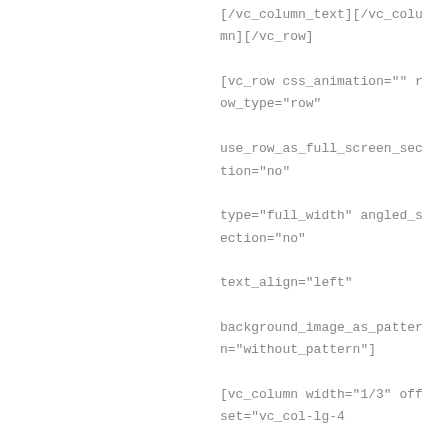[/vc_column_text][/vc_column][/vc_row] [vc_row css_animation="" row_type="row" use_row_as_full_screen_section="no" type="full_width" angled_section="no" text_align="left" background_image_as_pattern="without_pattern"] [vc_column width="1/3" offset="vc_col-lg-4 vc_col-md-6"][vc_single_image image="1165" img_size="full" alignment="center" qode_css_animation=""][vc_empty_space height="20px"][/vc_column][vc_column width="1/3" offset="vc_col-lg-4 vc_col-md-6"] [vc_single_image image="1166" img_size="full" alignment="center" qode_css_animation=""] [vc_empty_space height="20px"][/vc_column] [/vc_row][vc_row css_animation="" row_type="row"